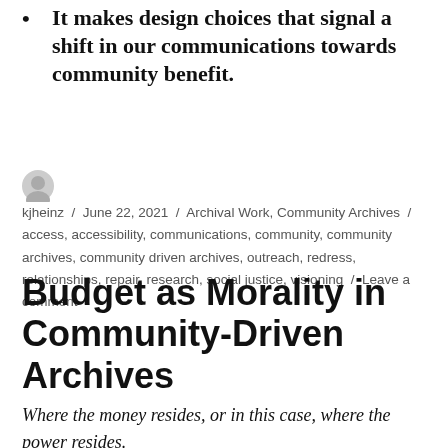It makes design choices that signal a shift in our communications towards community benefit.
kjheinz / June 22, 2021 / Archival Work, Community Archives / access, accessibility, communications, community, community archives, community driven archives, outreach, redress, relationships, repair, research, social justice, visioning / Leave a comment
Budget as Morality in Community-Driven Archives
Where the money resides, or in this case, where the power resides.